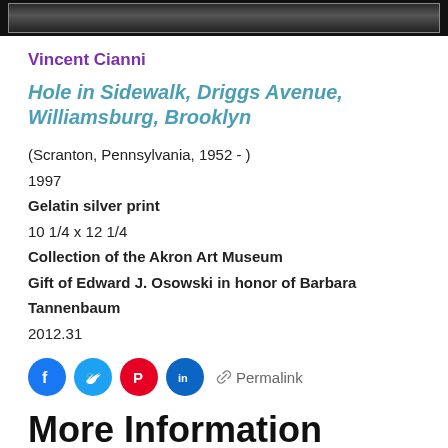[Figure (photo): Dark/black image bar at top of page representing a photograph thumbnail]
Vincent Cianni
Hole in Sidewalk, Driggs Avenue, Williamsburg, Brooklyn
(Scranton, Pennsylvania, 1952 - )
1997
Gelatin silver print
10 1/4 x 12 1/4
Collection of the Akron Art Museum
Gift of Edward J. Osowski in honor of Barbara Tannenbaum
2012.31
[Figure (infographic): Social media share icons: Facebook, Twitter, Pinterest, LinkedIn, and a Permalink link]
More Information